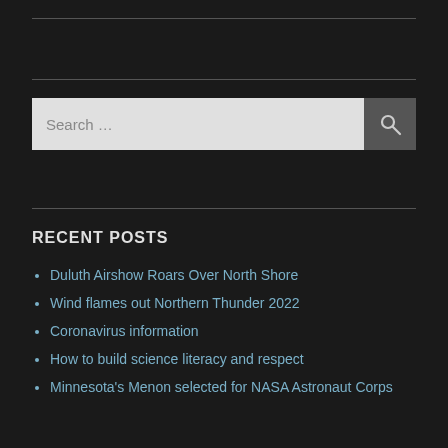[Figure (other): Horizontal rule line at top]
[Figure (other): Horizontal rule line, second]
[Figure (screenshot): Search bar with 'Search ...' placeholder text and a search button with magnifying glass icon]
[Figure (other): Horizontal rule line, third]
RECENT POSTS
Duluth Airshow Roars Over North Shore
Wind flames out Northern Thunder 2022
Coronavirus information
How to build science literacy and respect
Minnesota's Menon selected for NASA Astronaut Corps